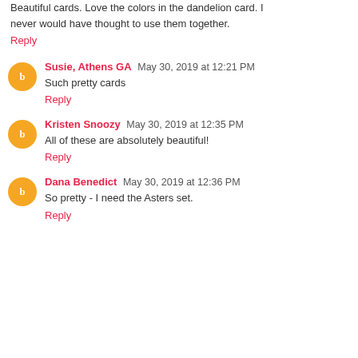Beautiful cards. Love the colors in the dandelion card. I never would have thought to use them together.
Reply
Susie, Athens GA  May 30, 2019 at 12:21 PM
Such pretty cards
Reply
Kristen Snoozy  May 30, 2019 at 12:35 PM
All of these are absolutely beautiful!
Reply
Dana Benedict  May 30, 2019 at 12:36 PM
So pretty - I need the Asters set.
Reply